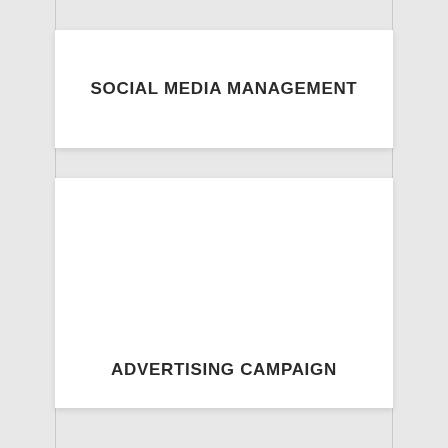SOCIAL MEDIA MANAGEMENT
ADVERTISING CAMPAIGN